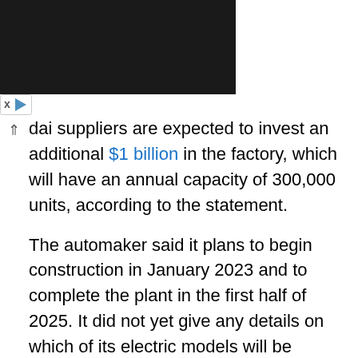[Figure (other): Black advertisement block at top left of page]
dai suppliers are expected to invest an additional $1 billion in the factory, which will have an annual capacity of 300,000 units, according to the statement.
The automaker said it plans to begin construction in January 2023 and to complete the plant in the first half of 2025. It did not yet give any details on which of its electric models will be produced at the Georgia location.
“This new EV plant is the future of our business, and it will help us meet the growing demands of our US customers,” Chang said in the statement.
Hyundai has projected that 27 percent of its global fleet will be electric within seven years.
By building battery production into the new factory,